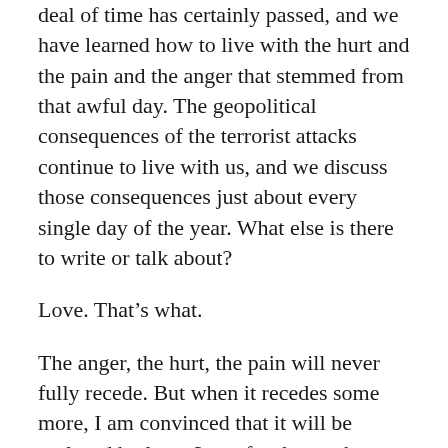deal of time has certainly passed, and we have learned how to live with the hurt and the pain and the anger that stemmed from that awful day. The geopolitical consequences of the terrorist attacks continue to live with us, and we discuss those consequences just about every single day of the year. What else is there to write or talk about?
Love. That’s what.
The anger, the hurt, the pain will never fully recede. But when it recedes some more, I am convinced that it will be replaced by love. Love for those whom we lost. Love for those who were saved. Love for those who risked and gave their lives so that others may live. Love for all those who sought to unite a nation after lunatics sought to frighten and divide it.
As human beings, we are fallen creatures, which